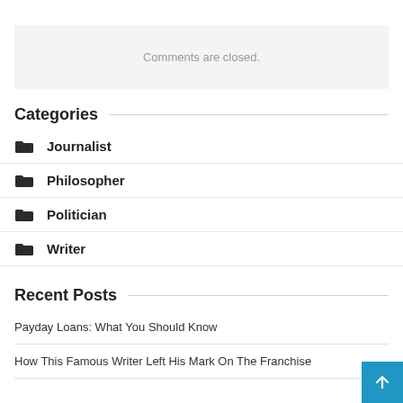Comments are closed.
Categories
Journalist
Philosopher
Politician
Writer
Recent Posts
Payday Loans: What You Should Know
How This Famous Writer Left His Mark On The Franchise